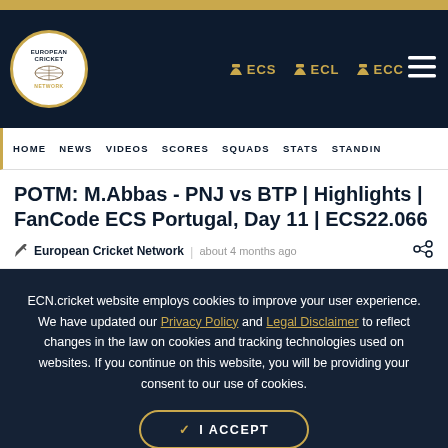European Cricket Network — ECS ECL ECC navigation header
HOME NEWS VIDEOS SCORES SQUADS STATS STANDINGS
POTM: M.Abbas - PNJ vs BTP | Highlights | FanCode ECS Portugal, Day 11 | ECS22.066
European Cricket Network | about 4 months ago
ECN.cricket website employs cookies to improve your user experience. We have updated our Privacy Policy and Legal Disclaimer to reflect changes in the law on cookies and tracking technologies used on websites. If you continue on this website, you will be providing your consent to our use of cookies.
✓ I ACCEPT